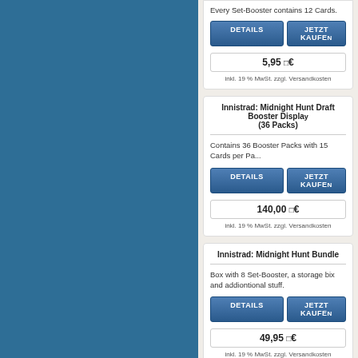Every Set-Booster contains 12 Cards.
5,95 €
inkl. 19 % MwSt. zzgl. Versandkosten
Innistrad: Midnight Hunt Draft Booster Display (36 Packs)
Contains 36 Booster Packs with 15 Cards per Pa...
140,00 €
inkl. 19 % MwSt. zzgl. Versandkosten
Innistrad: Midnight Hunt Bundle
Box with 8 Set-Booster, a storage bix and addiontional stuff.
49,95 €
inkl. 19 % MwSt. zzgl. Versandkosten